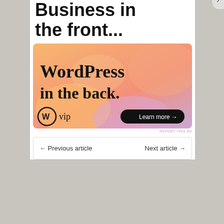Business in the front...
[Figure (illustration): WordPress VIP advertisement banner with orange/pink gradient background. Shows text 'WordPress in the back.' with WordPress W logo and 'vip' text, plus a 'Learn more →' button in dark pill shape.]
REPORT THIS AD
← Previous article    Next article →
Privacy & Cookies: This site uses cookies. By continuing to use this website, you agree to their use.
To find out more, including how to control cookies, see here: Cookie Policy
Close and accept